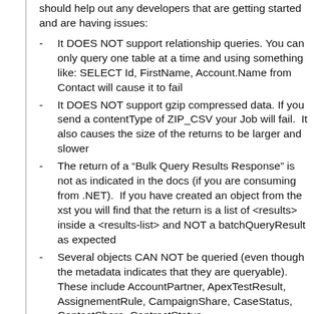should help out any developers that are getting started and are having issues:
It DOES NOT support relationship queries. You can only query one table at a time and using something like: SELECT Id, FirstName, Account.Name from Contact will cause it to fail
It DOES NOT support gzip compressed data. If you send a contentType of ZIP_CSV your Job will fail. It also causes the size of the returns to be larger and slower
The return of a “Bulk Query Results Response” is not as indicated in the docs (if you are consuming from .NET). If you have created an object from the xst you will find that the return is a list of <results> inside a <results-list> and NOT a batchQueryResult as expected
Several objects CAN NOT be queried (even though the metadata indicates that they are queryable). These include AccountPartner, ApexTestResult, AssignementRule, CampaignShare, CaseStatus, ContactShare, ContractStatus, DatedConversionRate, EventAttendee,